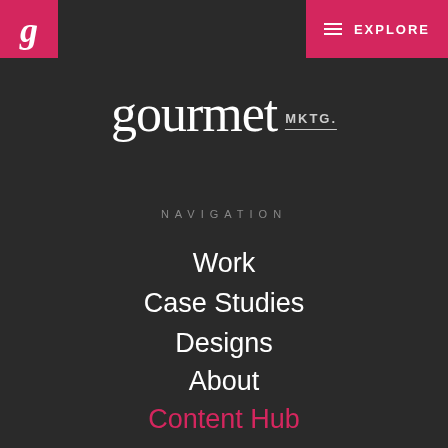g | EXPLORE
[Figure (logo): Gourmet MKTG. brand logo in white serif text on dark background]
NAVIGATION
Work
Case Studies
Designs
About
Content Hub
Contact Us